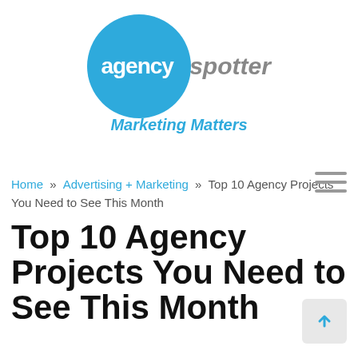[Figure (logo): Agency Spotter logo: blue circle with 'agency' in white bold text and 'spotter' in gray italic text to the right]
Marketing Matters
[Figure (other): Hamburger menu icon with three horizontal lines]
Home » Advertising + Marketing » Top 10 Agency Projects You Need to See This Month
Top 10 Agency Projects You Need to See This Month